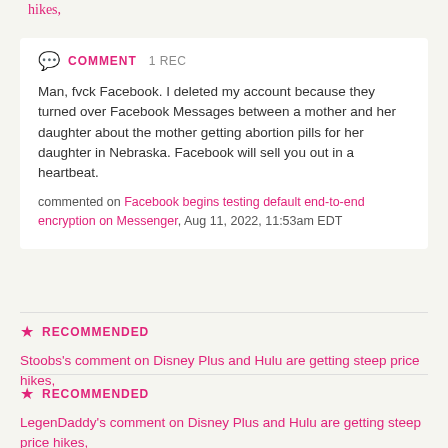hikes,
COMMENT  1 REC
Man, fvck Facebook. I deleted my account because they turned over Facebook Messages between a mother and her daughter about the mother getting abortion pills for her daughter in Nebraska. Facebook will sell you out in a heartbeat.
commented on Facebook begins testing default end-to-end encryption on Messenger, Aug 11, 2022, 11:53am EDT
RECOMMENDED
Stoobs's comment on Disney Plus and Hulu are getting steep price hikes,
RECOMMENDED
LegenDaddy's comment on Disney Plus and Hulu are getting steep price hikes,